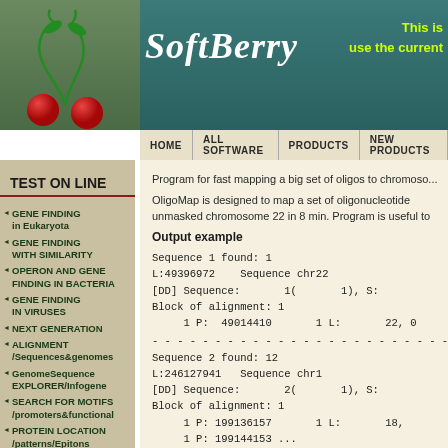[Figure (logo): SoftBerry logo with cherry graphics and cursive SoftBerry text on teal/green header background]
This is
use the current
TEST ON LINE
GENE FINDING in Eukaryota
GENE FINDING WITH SIMILARITY
OPERON AND GENE FINDING IN BACTERIA
GENE FINDING IN VIRUSES
NEXT GENERATION
ALIGNMENT /Sequences&genomes
GenomeSequence EXPLORER/Infogene
SEARCH FOR MOTIFS /promoters&functional
PROTEIN LOCATION /patterns/Epitons
Program for fast mapping a big set of oligos to chromosomes.
OligoMap is designed to map a set of oligonucleotides unmasked chromosome 22 in 8 min. Program is useful to
Output example
Sequence 1 found: 1
L:49396972    Sequence chr22
[DD] Sequence:       1(       1), S:
Block of alignment: 1
     1 P:  49014410       1 L:       22, 0
- - - - - - - - - - - - - - - - - - - - - - - - - - - -
Sequence 2 found: 12
L:246127941   Sequence chr1
[DD] Sequence:       2(       1), S:
Block of alignment: 1
     1 P: 199136157       1 L:       18,
     1 P: 199144153 ...